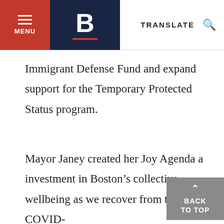MENU | B | TRANSLATE
Immigrant Defense Fund and expand support for the Temporary Protected Status program.
Mayor Janey created her Joy Agenda a[nd an] investment in Boston’s collective wellbeing as we recover from the COVID-19 pandemic. This citywide approach creates open and safe spaces, reimagines policies and practices to promote city